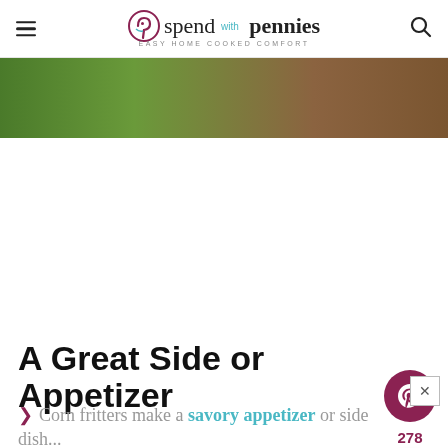spend with pennies — EASY HOME COOKED COMFORT
[Figure (photo): Top portion of a food photo showing green and brown tones, partially cropped]
[Figure (other): Pinterest share button (dark red circle with P icon) with share count 278, and a heart/save button (white circle)]
A Great Side or Appetizer
Corn fritters make a savory appetizer or side dish...